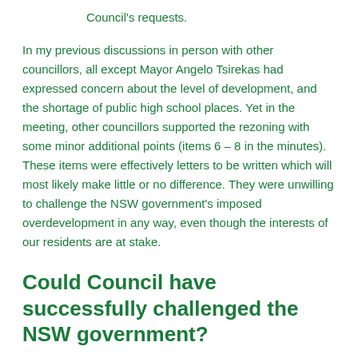Council's requests.
In my previous discussions in person with other councillors, all except Mayor Angelo Tsirekas had expressed concern about the level of development, and the shortage of public high school places. Yet in the meeting, other councillors supported the rezoning with some minor additional points (items 6 – 8 in the minutes). These items were effectively letters to be written which will most likely make little or no difference. They were unwilling to challenge the NSW government's imposed overdevelopment in any way, even though the interests of our residents are at stake.
Could Council have successfully challenged the NSW government?
It is worth stating that the NSW government is currently a minority government, with the local member under an ICAC cloud. If any time were the right time to put some pressure back